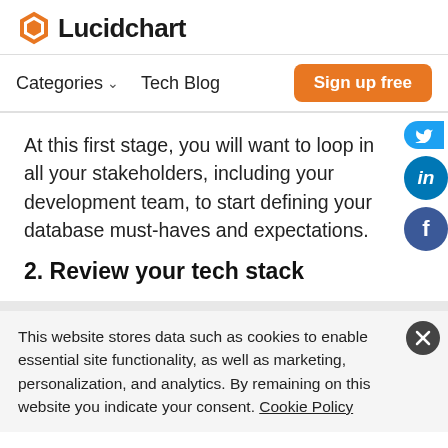Lucidchart
Categories  Tech Blog  Sign up free
At this first stage, you will want to loop in all your stakeholders, including your development team, to start defining your database must-haves and expectations.
2. Review your tech stack
This website stores data such as cookies to enable essential site functionality, as well as marketing, personalization, and analytics. By remaining on this website you indicate your consent. Cookie Policy